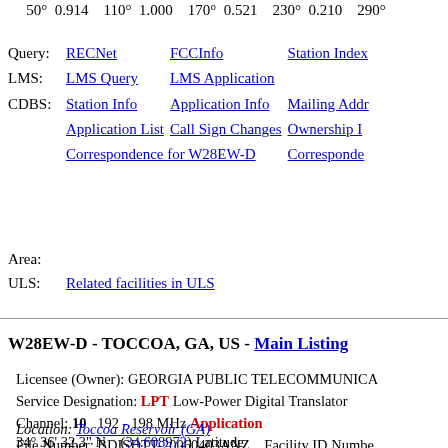50° 0.914   110° 1.000   170° 0.521   230° 0.210   290°
Query: RECNet   FCCInfo   Station Index
LMS: LMS Query   LMS Application
CDBS: Station Info   Application Info   Mailing Address
   Application List   Call Sign Changes   Ownership Info
   Correspondence for W28EW-D   Correspondence
Area:
ULS: Related facilities in ULS
W28EW-D - TOCCOA, GA, US - Main Listing
Licensee (Owner): GEORGIA PUBLIC TELECOMMUNICA
Service Designation: LPT Low-Power Digital Translator
Channel: 10   192 - 198 MHz Application
File Number: BDISDTT-20060403ANZ   Facility ID Number
Application ID Number: d76c423707284bbfaf88cf6212b6c0ea
CDBS Application ID: 1121710
Location: Toccoa Reservoir (GA)
34° 36' 32.3" N   (34.608972) Latitude